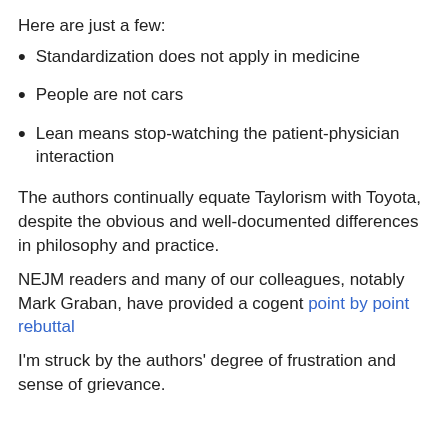Here are just a few:
Standardization does not apply in medicine
People are not cars
Lean means stop-watching the patient-physician interaction
The authors continually equate Taylorism with Toyota, despite the obvious and well-documented differences in philosophy and practice.
NEJM readers and many of our colleagues, notably Mark Graban, have provided a cogent point by point rebuttal
I'm struck by the authors' degree of frustration and sense of grievance.